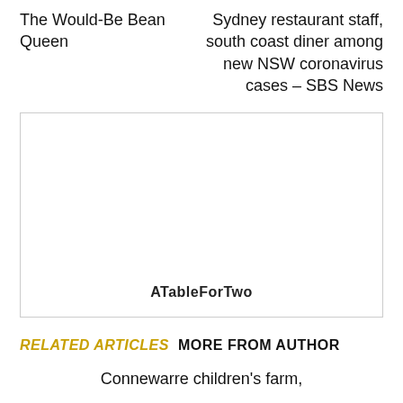The Would-Be Bean Queen
Sydney restaurant staff, south coast diner among new NSW coronavirus cases – SBS News
[Figure (other): Advertisement box with bold text 'ATableForTwo' centered at the bottom]
RELATED ARTICLES   MORE FROM AUTHOR
Connewarre children's farm,